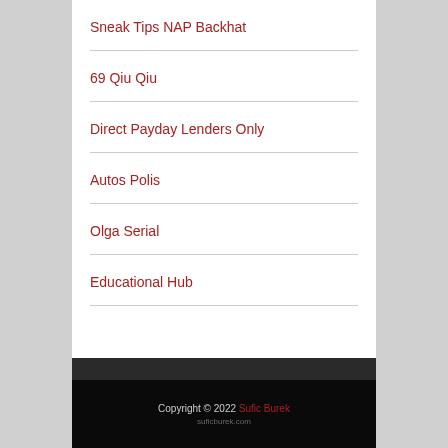Sneak Tips NAP Backhat
69 Qiu Qiu
Direct Payday Lenders Only
Autos Polis
Olga Serial
Educational Hub
Copyright © 2022 Sufic Burek